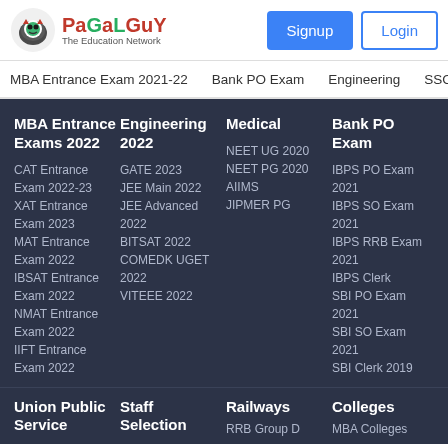[Figure (logo): PaGaLGuY - The Education Network logo with mascot icon]
Signup | Login
MBA Entrance Exam 2021-22 | Bank PO Exam | Engineering | SSC
MBA Entrance Exams 2022
CAT Entrance Exam 2022-23
XAT Entrance Exam 2023
MAT Entrance Exam 2022
IBSAT Entrance Exam 2022
NMAT Entrance Exam 2022
IIFT Entrance Exam 2022
Engineering 2022
GATE 2023
JEE Main 2022
JEE Advanced 2022
BITSAT 2022
COMEDK UGET 2022
VITEEE 2022
Medical
NEET UG 2020
NEET PG 2020
AIIMS
JIPMER PG
Bank PO Exam
IBPS PO Exam 2021
IBPS SO Exam 2021
IBPS RRB Exam 2021
IBPS Clerk
SBI PO Exam 2021
SBI SO Exam 2021
SBI Clerk 2019
Union Public Service
Staff Selection
Railways
RRB Group D
Colleges
MBA Colleges